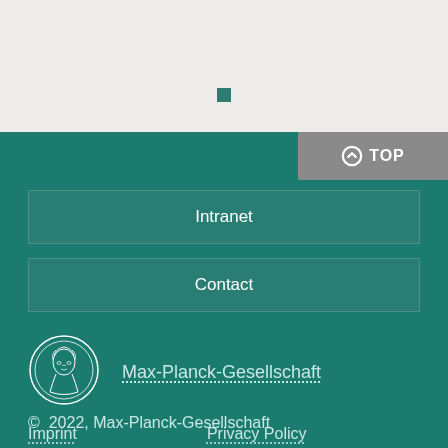[Figure (other): Light gray top section with a small dark teal square in the center]
[Figure (logo): Max-Planck-Gesellschaft circular medallion logo with female portrait]
Max-Planck-Gesellschaft
Intranet
Contact
Imprint
Privacy Policy
© 2022, Max-Planck-Gesellschaft